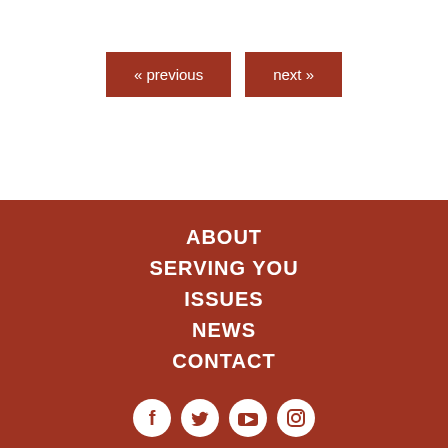« previous
next »
ABOUT
SERVING YOU
ISSUES
NEWS
CONTACT
[Figure (illustration): Social media icons: Facebook, Twitter, YouTube, Instagram]